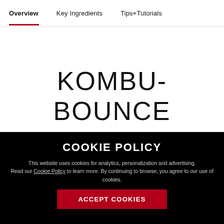Overview | Key Ingredients | Tips+Tutorials
KOMBU-BOUNCE
COOKIE POLICY
This website uses cookies for analytics, personalization and advertising. Read our Cookie Policy to learn more. By continuing to browse, you agree to our use of cookies.
ACCEPT COOKIES